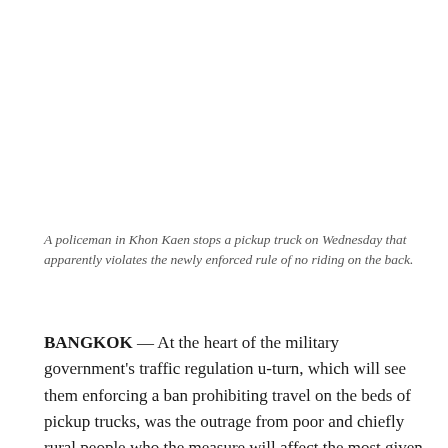A policeman in Khon Kaen stops a pickup truck on Wednesday that apparently violates the newly enforced rule of no riding on the back.
BANGKOK — At the heart of the military government's traffic regulation u-turn, which will see them enforcing a ban prohibiting travel on the beds of pickup trucks, was the outrage from poor and chiefly rural people who the measure will affect the most given the lack of viable alternatives.
The Wednesday u-turn is temporary, the government said,